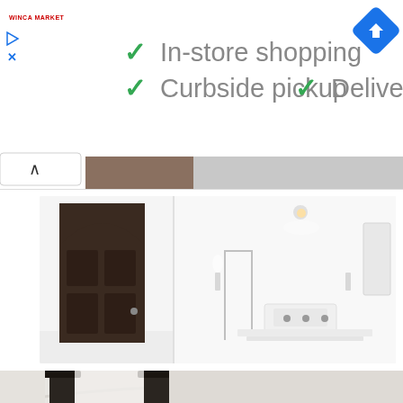[Figure (screenshot): Google Maps / Google Business listing advertisement bar showing store services: In-store shopping, Curbside pickup, Delivery with green checkmarks. Includes Winca Market logo on left, navigation arrow icon on right, and play/close buttons.]
[Figure (photo): Interior showroom photo showing a white minimalist space with a dark ornate arched door on the left side and a bright white bathroom/showroom area on the right with vanities and fixtures.]
[Figure (photo): Interior architectural photo showing the lower portion of a converted church space with dark ornate columns and white arched ceilings.]